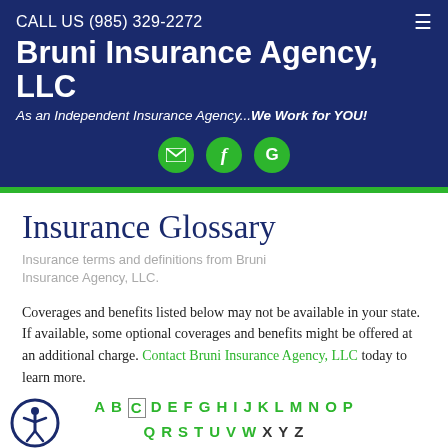CALL US (985) 329-2272
Bruni Insurance Agency, LLC
As an Independent Insurance Agency...We Work for YOU!
[Figure (other): Social media icons: email, Facebook, Google]
Insurance Glossary
Insurance terms and definitions from Bruni Insurance Agency, LLC.
Coverages and benefits listed below may not be available in your state. If available, some optional coverages and benefits might be offered at an additional charge. Contact Bruni Insurance Agency, LLC today to learn more.
A B C D E F G H I J K L M N O P Q R S T U V W X Y Z